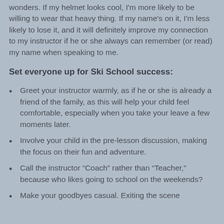wonders. If my helmet looks cool, I'm more likely to be willing to wear that heavy thing. If my name's on it, I'm less likely to lose it, and it will definitely improve my connection to my instructor if he or she always can remember (or read) my name when speaking to me.
Set everyone up for Ski School success:
Greet your instructor warmly, as if he or she is already a friend of the family, as this will help your child feel comfortable, especially when you take your leave a few moments later.
Involve your child in the pre-lesson discussion, making the focus on their fun and adventure.
Call the instructor “Coach” rather than “Teacher,” because who likes going to school on the weekends?
Make your goodbyes casual. Exiting the scene